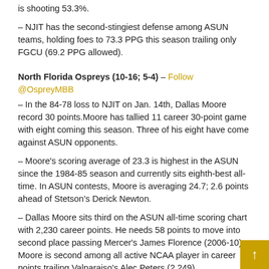is shooting 53.3%.
– NJIT has the second-stingiest defense among ASUN teams, holding foes to 73.3 PPG this season trailing only FGCU (69.2 PPG allowed).
North Florida Ospreys (10-16; 5-4) – Follow @OspreyMBB
– In the 84-78 loss to NJIT on Jan. 14th, Dallas Moore record 30 points.Moore has tallied 11 career 30-point game with eight coming this season. Three of his eight have come against ASUN opponents.
– Moore's scoring average of 23.3 is highest in the ASUN since the 1984-85 season and currently sits eighth-best all-time. In ASUN contests, Moore is averaging 24.7; 2.6 points ahead of Stetson's Derick Newton.
– Dallas Moore sits third on the ASUN all-time scoring chart with 2,230 career points. He needs 58 points to move into second place passing Mercer's James Florence (2006-10). Moore is second among all active NCAA player in career points trailing Valparaiso's Alec Peters (2,249).
– Chris Davenport has reached double figures in scoring in each of the past six games and is averaging 21.6 PPG in the